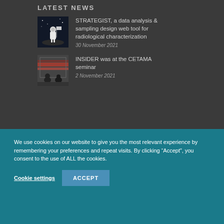LATEST NEWS
[Figure (photo): Astronaut on moon surface with flag, black and white illustration]
STRATEGIST, a data analysis & sampling design web tool for radiological characterization
30 November 2021
[Figure (photo): People at CETAMA seminar, blurred motion background]
INSIDER was at the CETAMA seminar
2 November 2021
CONTACT
We use cookies on our website to give you the most relevant experience by remembering your preferences and repeat visits. By clicking “Accept”, you consent to the use of ALL the cookies.
Cookie settings
ACCEPT